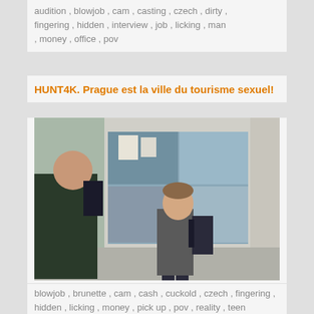audition , blowjob , cam , casting , czech , dirty , fingering , hidden , interview , job , licking , man , money , office , pov
HUNT4K. Prague est la ville du tourisme sexuel!
[Figure (photo): Outdoor photo of a young man with a backpack touching his chin, standing near a building with glass windows]
blowjob , brunette , cam , cash , cuckold , czech , fingering , hidden , licking , money , pick up , pov , reality , teen
LOAN4K. Le tue nuove tette non possono risolvere i problemi? O si?
[Figure (photo): Indoor photo of a brunette woman in a blue jacket sitting near a desk with a monitor, green wall background]